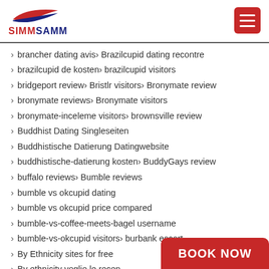SIMMSAMM
brancher dating avis › Brazilcupid dating recontre
brazilcupid de kosten › brazilcupid visitors
bridgeport review › Bristlr visitors › Bronymate review
bronymate reviews › Bronymate visitors
bronymate-inceleme visitors › brownsville review
Buddhist Dating Singleseiten
Buddhistische Datierung Datingwebsite
buddhistische-datierung kosten › BuddyGays review
buffalo reviews › Bumble reviews
bumble vs okcupid dating
bumble vs okcupid price compared
bumble-vs-coffee-meets-bagel username
bumble-vs-okcupid visitors › burbank escort
By Ethnicity sites for free
By ethnicity voglio le recen…
By ethnicity wil site › caffm…